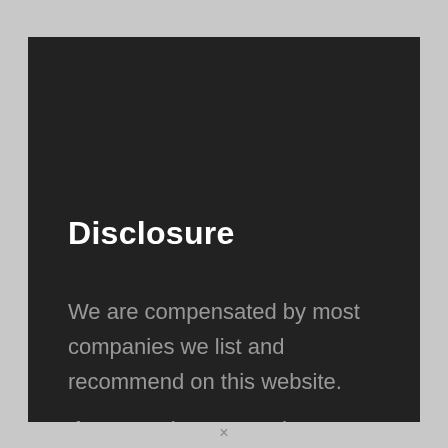Disclosure
We are compensated by most companies we list and recommend on this website.
If you purchase a product or